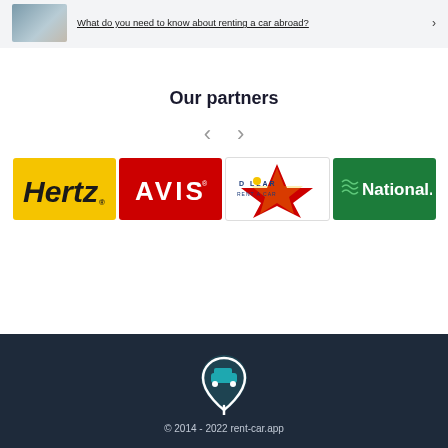[Figure (photo): Car key handover scene - person receiving keys outside a car]
What do you need to know about renting a car abroad?
Our partners
[Figure (logo): Hertz car rental logo - yellow background with black italic text]
[Figure (logo): Avis car rental logo - red background with white text]
[Figure (logo): Dollar Rent a Car logo]
[Figure (logo): National car rental logo - green background]
[Figure (logo): Rent-car.app logo icon with car and location pin]
© 2014 - 2022 rent-car.app